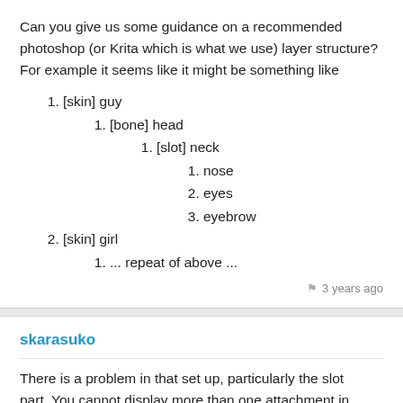Can you give us some guidance on a recommended photoshop (or Krita which is what we use) layer structure? For example it seems like it might be something like
1. [skin] guy
1. [bone] head
1. [slot] neck
1. nose
2. eyes
3. eyebrow
2. [skin] girl
1. ... repeat of above ...
3 years ago
skarasuko
There is a problem in that set up, particularly the slot part. You cannot display more than one attachment in...